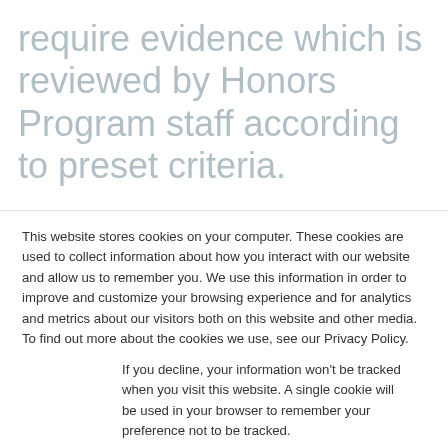require evidence which is reviewed by Honors Program staff according to preset criteria.
What originated as a redesign of the Honors Program grew to encompass a constellation of skillsets, experiences, and opportunities for students, fueled by the use of digital badges
This website stores cookies on your computer. These cookies are used to collect information about how you interact with our website and allow us to remember you. We use this information in order to improve and customize your browsing experience and for analytics and metrics about our visitors both on this website and other media. To find out more about the cookies we use, see our Privacy Policy.
If you decline, your information won't be tracked when you visit this website. A single cookie will be used in your browser to remember your preference not to be tracked.